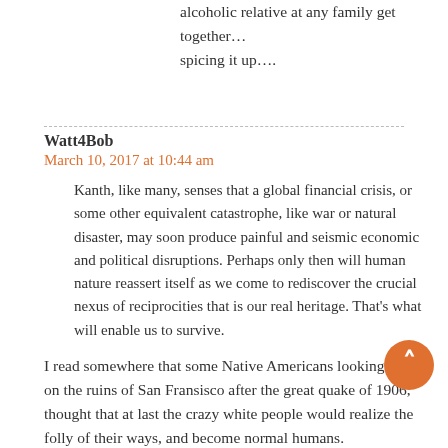alcoholic relative at any family get together… spicing it up….
Watt4Bob
March 10, 2017 at 10:44 am
Kanth, like many, senses that a global financial crisis, or some other equivalent catastrophe, like war or natural disaster, may soon produce painful and seismic economic and political disruptions. Perhaps only then will human nature reassert itself as we come to rediscover the crucial nexus of reciprocities that is our real heritage. That's what will enable us to survive.
I read somewhere that some Native Americans looking down on the ruins of San Fransisco after the great quake of 1906, thought that at last the crazy white people would realize the folly of their ways, and become normal humans.
So they were amazed that before the ruins even stopped smoking, the crazy white people, ignoring the obvious displeasure of the Great Spirit, were busy rebuilding the same mess that had just been destroyed.
I have a strong suspicion that evil empires do not come to